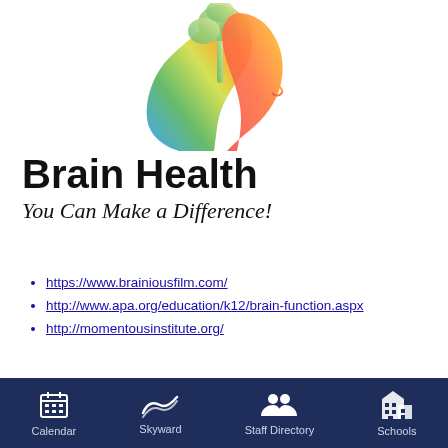[Figure (illustration): Colorful silhouette of a human head in profile with a tree growing from it, rendered in a rainbow gradient (blue, green, yellow, orange, red). The tree branches spread above the head.]
Brain Health
You Can Make a Difference!
https://www.brainiousfilm.com/
http://www.apa.org/education/k12/brain-function.aspx
http://momentousinstitute.org/
P.E.C. Resources:
Calendar   Skyward   Staff Directory   Schools